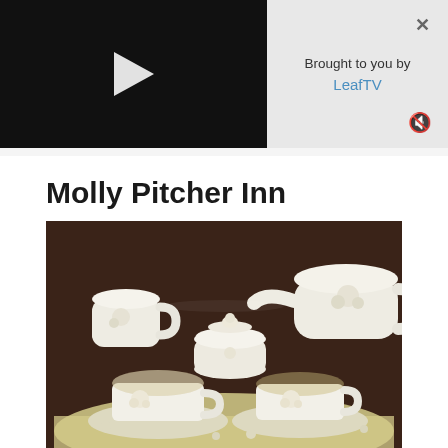[Figure (screenshot): Video player thumbnail showing a dark background with a white play button triangle in the center, accompanied by a sponsored content box on the right saying 'Brought to you by LeafTV' with close and mute icons.]
Molly Pitcher Inn
[Figure (photo): Photo of an elegant white ceramic tea set with floral rose relief decorations, including teapot, sugar bowl, creamer, and two teacups on saucers, arranged on a tray against a dark wood background.]